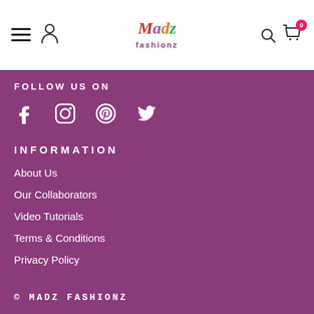Madz Fashionz - Navigation header with hamburger menu, profile icon, logo, search, and cart (0 items)
FOLLOW US ON
[Figure (illustration): Social media icons: Facebook, Instagram, Pinterest, Twitter]
INFORMATION
About Us
Our Collaborators
Video Tutorials
Terms & Conditions
Privacy Policy
© MADZ FASHIONZ